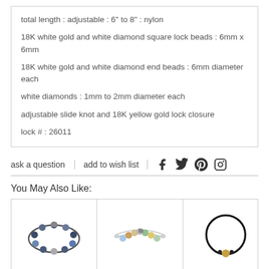total length : adjustable : 6" to 8" : nylon
18K white gold and white diamond square lock beads : 6mm x 6mm
18K white gold and white diamond end beads : 6mm diameter each
white diamonds : 1mm to 2mm diameter each
adjustable slide knot and 18K yellow gold lock closure
lock # : 26011
ask a question   add to wish list
You May Also Like:
[Figure (photo): Three bracelet product images in a grid: left bracelet with dark blue and grey beads, center bracelet with multi-colored natural stone beads, right bracelet with black cord and gold bead closure.]